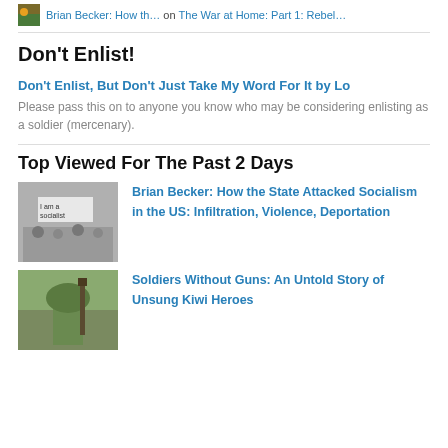Brian Becker: How th… on The War at Home: Part 1: Rebel…
Don't Enlist!
Don't Enlist, But Don't Just Take My Word For It by Lo
Please pass this on to anyone you know who may be considering enlisting as a soldier (mercenary).
Top Viewed For The Past 2 Days
[Figure (photo): Black and white protest photo with sign reading 'I am a socialist']
Brian Becker: How the State Attacked Socialism in the US: Infiltration, Violence, Deportation
[Figure (photo): Photo of a soldier wearing a helmet, seen from behind, holding a rifle]
Soldiers Without Guns: An Untold Story of Unsung Kiwi Heroes